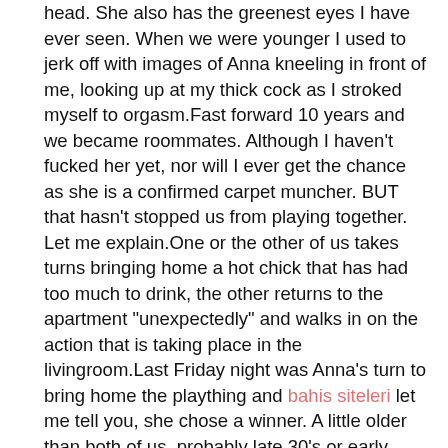head. She also has the greenest eyes I have ever seen. When we were younger I used to jerk off with images of Anna kneeling in front of me, looking up at my thick cock as I stroked myself to orgasm.Fast forward 10 years and we became roommates. Although I haven't fucked her yet, nor will I ever get the chance as she is a confirmed carpet muncher. BUT that hasn't stopped us from playing together. Let me explain.One or the other of us takes turns bringing home a hot chick that has had too much to drink, the other returns to the apartment "unexpectedly" and walks in on the action that is taking place in the livingroom.Last Friday night was Anna's turn to bring home the plaything and bahis siteleri let me tell you, she chose a winner. A little older than both of us, probably late 30's or early 40's, but a smoking ass and nice, firm titties. When I walked into the room, it did not surprise me at all that my cousin was in between her legs sucking on her puss because that is what she does, that is what she is good at. The MILF was hanging on to Anna's hair and looking straight at me as I pretended to be shocked that my cousin had company over.Anna didn't skip a beat, in fact she added two fingers to